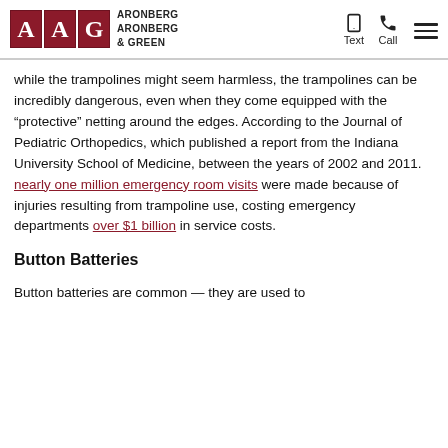Aronberg Aronberg & Green — Text | Call | Menu
while the trampolines might seem harmless, the trampolines can be incredibly dangerous, even when they come equipped with the "protective" netting around the edges. According to the Journal of Pediatric Orthopedics, which published a report from the Indiana University School of Medicine, between the years of 2002 and 2011. nearly one million emergency room visits were made because of injuries resulting from trampoline use, costing emergency departments over $1 billion in service costs.
Button Batteries
Button batteries are common — they are used to